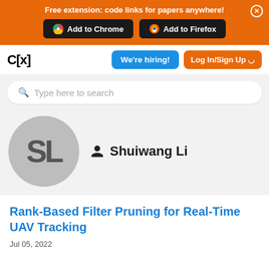Free extension: code links for papers anywhere!
Add to Chrome  |  Add to Firefox
C[x]
We're hiring!
Log In/Sign Up
Type here to search
[Figure (illustration): Grey circle avatar with initials SL]
Shuiwang Li
Rank-Based Filter Pruning for Real-Time UAV Tracking
Jul 05, 2022